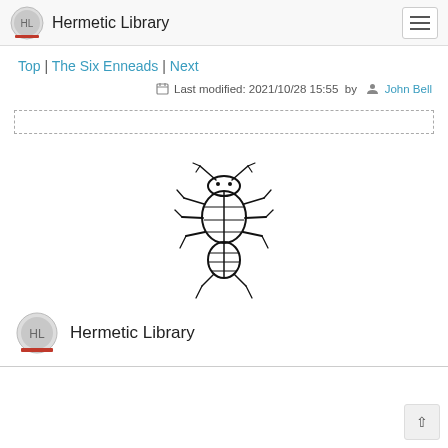Hermetic Library
Top | The Six Enneads | Next
Last modified: 2021/10/28 15:55 by John Bell
[Figure (other): Empty dotted-border box placeholder]
[Figure (illustration): Black line drawing of a scarab beetle facing upward, centered on the page]
Hermetic Library